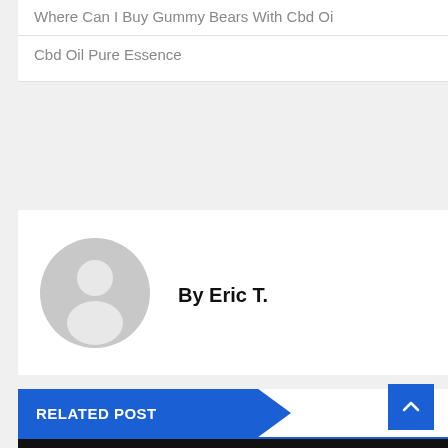Where Can I Buy Gummy Bears With Cbd Oil
Cbd Oil Pure Essence
By Eric T.
RELATED POST
[Figure (photo): Dark/black image area with CBD OIL ONLINE badge]